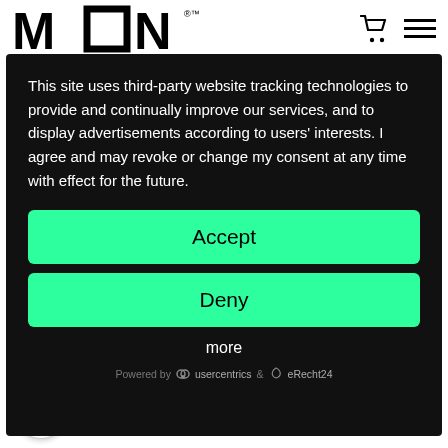[Figure (logo): MON logo with a square replacing the O, registered trademark symbol]
[Figure (other): Shopping cart icon and hamburger menu icon in header]
This site uses third-party website tracking technologies to provide and continually improve our services, and to display advertisements according to users' interests. I agree and may revoke or change my consent at any time with effect for the future.
Accept
Deny
more
Powered by  usercentrics  &  eRecht24
Large shopping basket